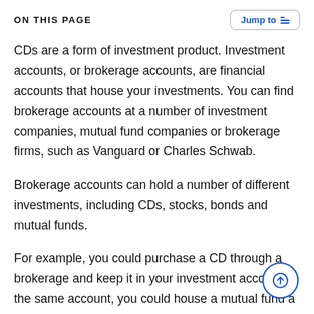ON THIS PAGE
CDs are a form of investment product. Investment accounts, or brokerage accounts, are financial accounts that house your investments. You can find brokerage accounts at a number of investment companies, mutual fund companies or brokerage firms, such as Vanguard or Charles Schwab.
Brokerage accounts can hold a number of different investments, including CDs, stocks, bonds and mutual funds.
For example, you could purchase a CD through a brokerage and keep it in your investment account. In the same account, you could house a mutual fund a stock portfolio.